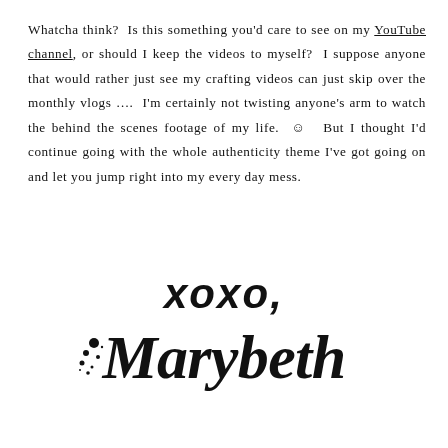Whatcha think? Is this something you'd care to see on my YouTube channel, or should I keep the videos to myself? I suppose anyone that would rather just see my crafting videos can just skip over the monthly vlogs …. I'm certainly not twisting anyone's arm to watch the behind the scenes footage of my life. ☺ But I thought I'd continue going with the whole authenticity theme I've got going on and let you jump right into my every day mess.
xoxo,
Marybeth